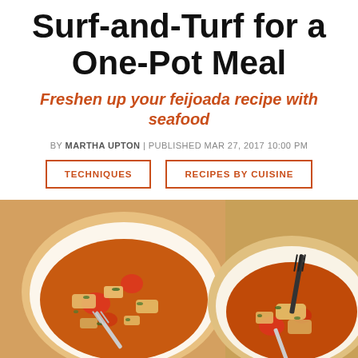Surf-and-Turf for a One-Pot Meal
Freshen up your feijoada recipe with seafood
BY MARTHA UPTON | PUBLISHED MAR 27, 2017 10:00 PM
TECHNIQUES
RECIPES BY CUISINE
[Figure (photo): Two white bowls of feijoada stew with seafood and meat in orange-red broth, garnished with herbs and tomatoes, with forks in bowls, photographed from above on a light surface.]